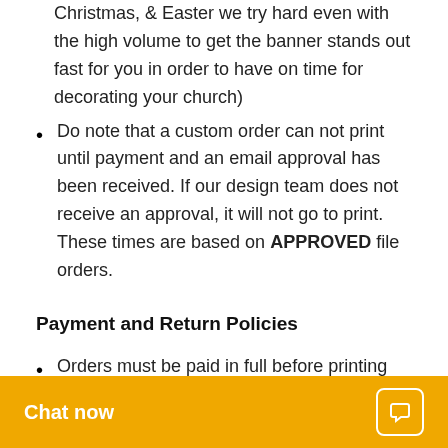Christmas, & Easter we try hard even with the high volume to get the banner stands out fast for you in order to have on time for decorating your church)
Do note that a custom order can not print until payment and an email approval has been received. If our design team does not receive an approval, it will not go to print. These times are based on APPROVED file orders.
Payment and Return Policies
Orders must be paid in full before printing and shipping ca... CUSTOM BANN...